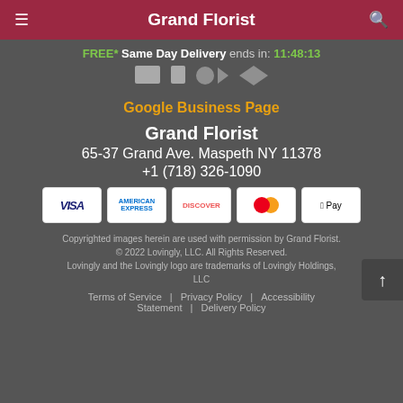Grand Florist
FREE* Same Day Delivery ends in: 11:48:13
[Figure (logo): Social media icons: Yelp and Twitter logos in gray]
Google Business Page
Grand Florist
65-37 Grand Ave. Maspeth NY 11378
+1 (718) 326-1090
[Figure (other): Payment method icons: VISA, American Express, Discover, Mastercard, Apple Pay]
Copyrighted images herein are used with permission by Grand Florist. © 2022 Lovingly, LLC. All Rights Reserved. Lovingly and the Lovingly logo are trademarks of Lovingly Holdings, LLC
Terms of Service | Privacy Policy | Accessibility Statement | Delivery Policy